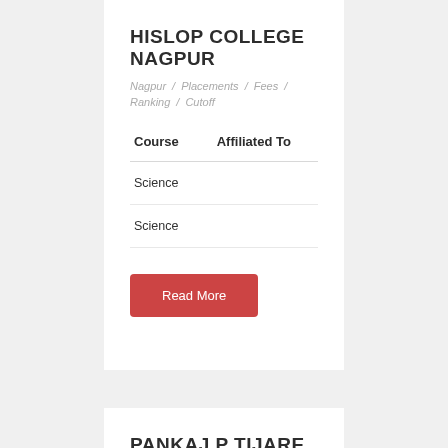HISLOP COLLEGE NAGPUR
Nagpur / Placements / Fees / Ranking / Cutoff
| Course | Affiliated To |
| --- | --- |
| Science |  |
| Science |  |
Read More
PANKAJ P TIJARE COLLEGE,,